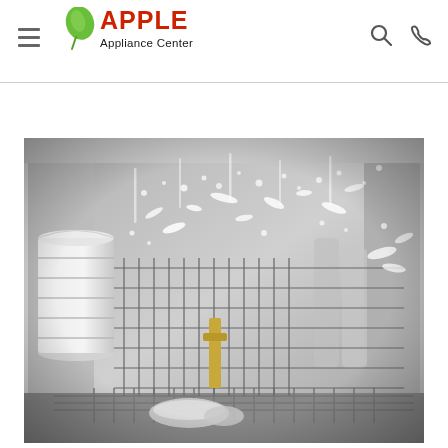Apple Appliance Center - Navigation Header
[Figure (photo): Interior view of a dishwasher in operation, black and white photo showing water splashing over dishes, plates on the left rack and glasses/utensils in the center and right baskets with water jets spraying]